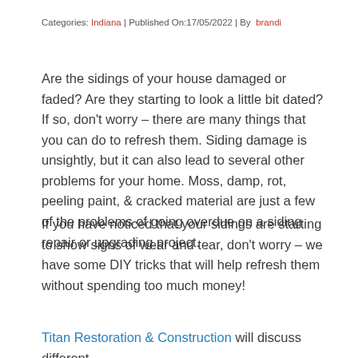Categories: Indiana | Published On:17/05/2022 | By  brandi
Are the sidings of your house damaged or faded? Are they starting to look a little bit dated? If so, don't worry – there are many things that you can do to refresh them. Siding damage is unsightly, but it can also lead to several other problems for your home. Moss, damp, rot, peeling paint, & cracked material are just a few of the problems of going overdue on a siding repair or upgrading project.
If you have noticed that your sidings are starting to show signs of wear and tear, don't worry – we have some DIY tricks that will help refresh them without spending too much money!
Titan Restoration & Construction will discuss different